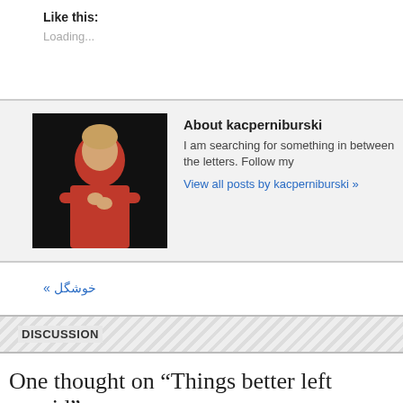Like this:
Loading...
About kacperniburski
I am searching for something in between the letters. Follow my
View all posts by kacperniburski »
« خوشگل
DISCUSSION
One thought on “Things better left unsaid”
That last paragraph hits the nail right on the head. I agree wholeheartedly.